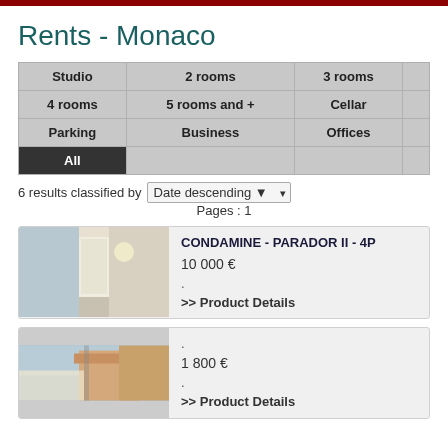Rents - Monaco
| Studio | 2 rooms | 3 rooms |  |
| --- | --- | --- | --- |
| 4 rooms | 5 rooms and + | Cellar |  |
| Parking | Business | Offices |  |
| All |  |  |  |
6 results classified by Date descending
Pages : 1
[Figure (photo): Interior hallway photo for CONDAMINE - PARADOR II - 4P listing]
CONDAMINE - PARADOR II - 4P
10 000 €
.
>> Product Details
[Figure (photo): Exterior building photo for second listing]
.
1 800 €
.
>> Product Details